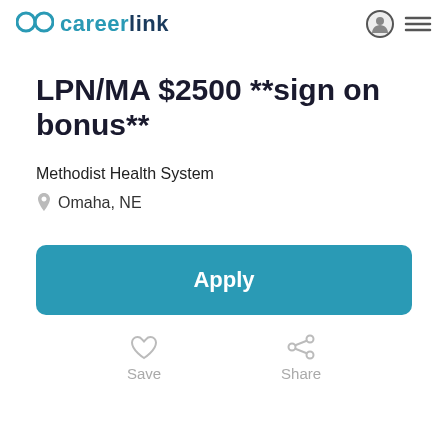careerlink
LPN/MA $2500 **sign on bonus**
Methodist Health System
Omaha, NE
Apply
Save
Share